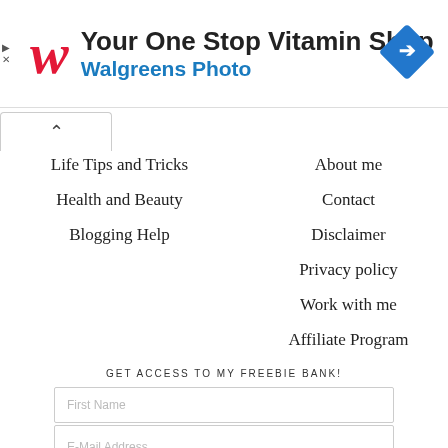[Figure (advertisement): Walgreens ad banner: red W logo, 'Your One Stop Vitamin Shop' title, 'Walgreens Photo' subtitle in blue, blue diamond navigation icon on right]
Life Tips and Tricks
Health and Beauty
Blogging Help
About me
Contact
Disclaimer
Privacy policy
Work with me
Affiliate Program
GET ACCESS TO MY FREEBIE BANK!
First Name
E-Mail Address